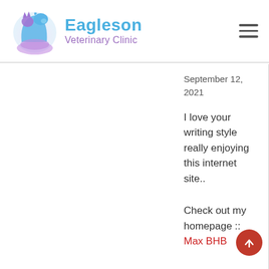[Figure (logo): Eagleson Veterinary Clinic logo with stylized cat and dog silhouette in blue and purple gradient, with clinic name in blue and purple text]
September 12, 2021
I love your writing style really enjoying this internet site..
Check out my homepage :: Max BHB